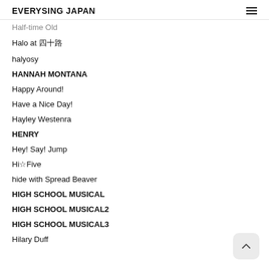EVERYSING JAPAN
Half-time Old
Halo at 四十路
halyosy
HANNAH MONTANA
Happy Around!
Have a Nice Day!
Hayley Westenra
HENRY
Hey! Say! Jump
Hi☆Five
hide with Spread Beaver
HIGH SCHOOL MUSICAL
HIGH SCHOOL MUSICAL2
HIGH SCHOOL MUSICAL3
Hilary Duff